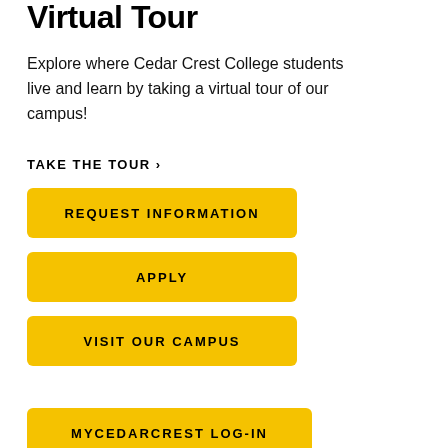Virtual Tour
Explore where Cedar Crest College students live and learn by taking a virtual tour of our campus!
TAKE THE TOUR ›
REQUEST INFORMATION
APPLY
VISIT OUR CAMPUS
MyCedarCrest Log-in